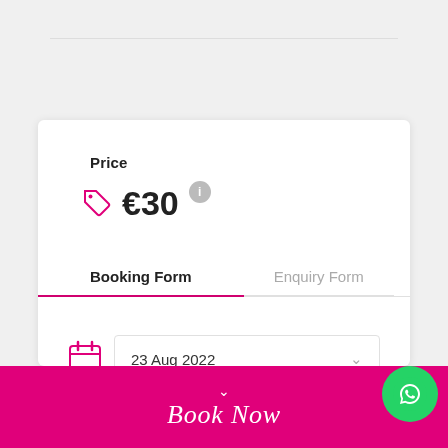Price
€30
Booking Form
Enquiry Form
23 Aug 2022
Book Now